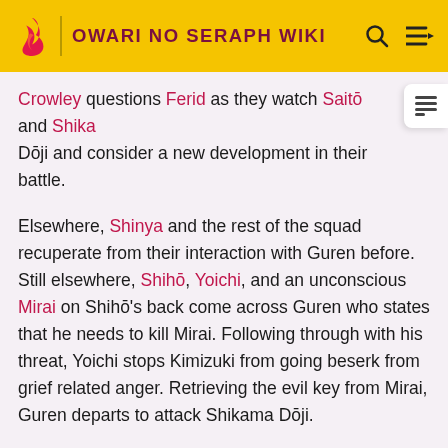OWARI NO SERAPH WIKI
Crowley questions Ferid as they watch Saitō and Shikama Dōji and consider a new development in their battle.
Elsewhere, Shinya and the rest of the squad recuperate from their interaction with Guren before. Still elsewhere, Shihō, Yoichi, and an unconscious Mirai on Shihō's back come across Guren who states that he needs to kill Mirai. Following through with his threat, Yoichi stops Kimizuki from going beserk from grief related anger. Retrieving the evil key from Mirai, Guren departs to attack Shikama Dōji.
Mahiru and Noya halt the scythes aimed at Guren, who then tosses the newly acquired evil key to Saitō. He betrays Guren by attempting to consume him, however,